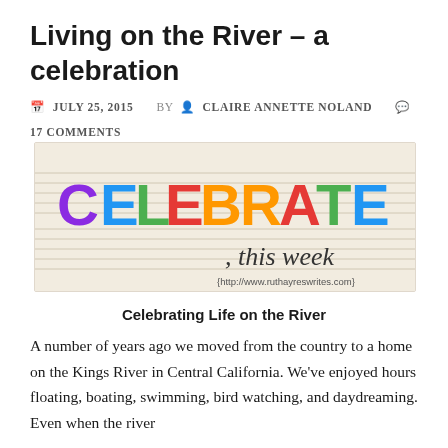Living on the River – a celebration
📅 JULY 25, 2015  BY 👤 CLAIRE ANNETTE NOLAND  💬 17 COMMENTS
[Figure (illustration): Celebrate This Week banner image with colorful letters spelling CELEBRATE and cursive 'this week' text, URL (http://www.ruthayreswrites.com)]
Celebrating Life on the River
A number of years ago we moved from the country to a home on the Kings River in Central California. We've enjoyed hours floating, boating, swimming, bird watching, and daydreaming. Even when the river